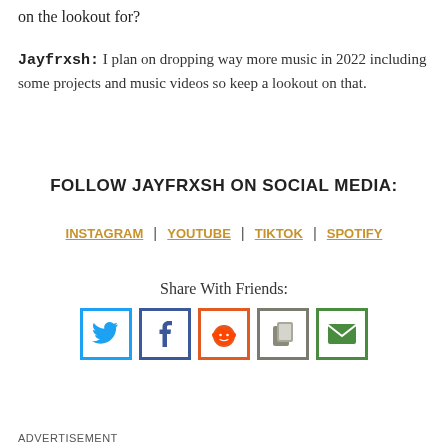on the lookout for?
Jayfrxsh: I plan on dropping way more music in 2022 including some projects and music videos so keep a lookout on that.
FOLLOW JAYFRXSH ON SOCIAL MEDIA:
INSTAGRAM | YOUTUBE | TIKTOK | SPOTIFY
Share With Friends:
[Figure (infographic): Five social share icon buttons: Twitter (blue bird), Facebook (blue f), Reddit (orange alien), Copy (grey document copy), Email (green envelope)]
ADVERTISEMENT